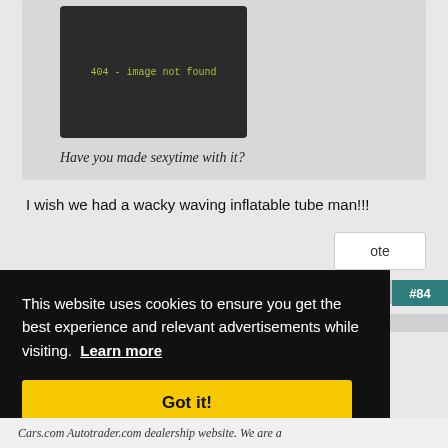[Figure (screenshot): Black image placeholder showing '404 - image not found' in monospace yellow-green text]
Have you made sexytime with it?
I wish we had a wacky waving inflatable tube man!!!
ote
#84
This website uses cookies to ensure you get the best experience and relevant advertisements while visiting.  Learn more
Got it!
Cars.com Autotrader.com dealership website. We are a